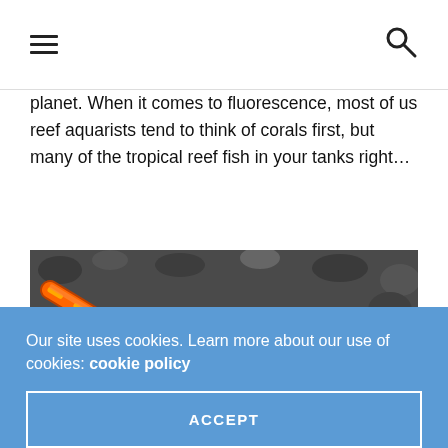≡   🔍
planet. When it comes to fluorescence, most of us reef aquarists tend to think of corals first, but many of the tropical reef fish in your tanks right…
[Figure (photo): Close-up photograph of a bright orange sea creature (possibly a pipefish or sea snake) with yellow markings, lying on a dark sandy/gravelly seafloor substrate.]
Our site uses cookies. Learn more about our use of cookies: cookie policy
ACCEPT